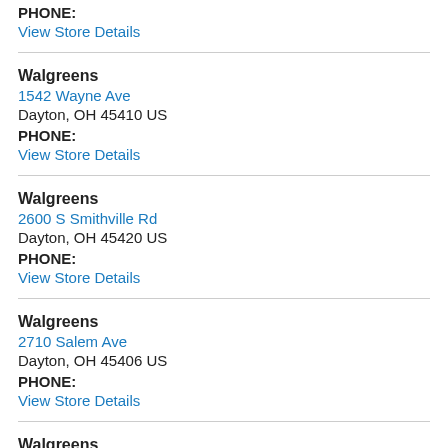PHONE:
View Store Details
Walgreens
1542 Wayne Ave
Dayton, OH 45410 US
PHONE:
View Store Details
Walgreens
2600 S Smithville Rd
Dayton, OH 45420 US
PHONE:
View Store Details
Walgreens
2710 Salem Ave
Dayton, OH 45406 US
PHONE:
View Store Details
Walgreens